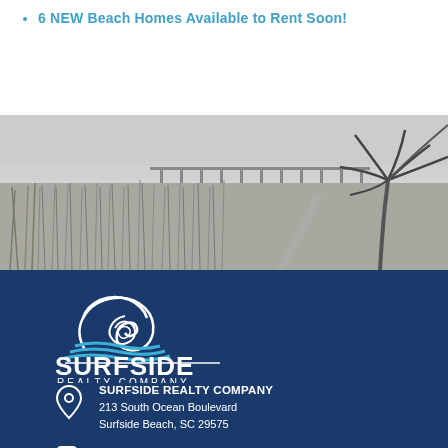6 NEW Beach Homes Available to Rent Soon!
[Figure (photo): Black and white beach landscape photo showing a pier in the background, sea grass in the foreground, and a palm tree on the right side.]
[Figure (logo): Surfside Realty Company logo: a white wave illustration above the text SURFSIDE in large bold white letters and REALTY COMPANY in smaller white letters, on a dark blue background.]
SURFSIDE REALTY COMPANY
213 South Ocean Boulevard
Surfside Beach, SC 29575
Phone: 800-833-8231
Click Here to Email Us